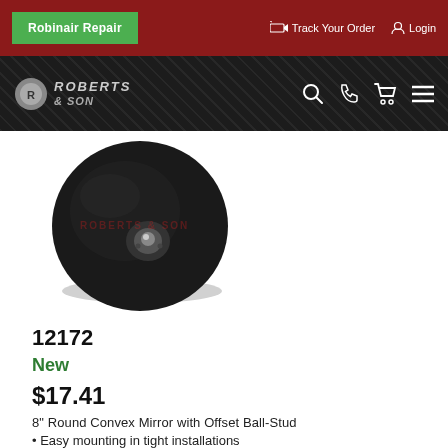Robinair Repair | Track Your Order | Login
[Figure (logo): Roberts & Son logo on dark metallic diamond-plate background with navigation icons (search, phone, cart, menu)]
[Figure (photo): Black 8-inch round convex mirror with offset ball-stud mount, viewed from the back, showing the mounting hardware]
12172
New
$17.41
8" Round Convex Mirror with Offset Ball-Stud
Easy mounting in tight installations